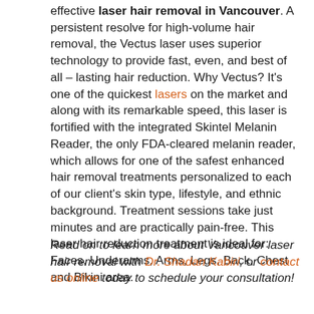effective laser hair removal in Vancouver. A persistent resolve for high-volume hair removal, the Vectus laser uses superior technology to provide fast, even, and best of all – lasting hair reduction. Why Vectus? It's one of the quickest lasers on the market and along with its remarkable speed, this laser is fortified with the integrated Skintel Melanin Reader, the only FDA-cleared melanin reader, which allows for one of the safest enhanced hair removal treatments personalized to each of our client's skin type, lifestyle, and ethnic background. Treatment sessions take just minutes and are practically pain-free. This laser hair reduction treatment is ideal for: Faces, Underarms, Arms, Legs, Back, Chest and Bikini area.
Read on to learn more about Vancouver laser hair removal with Dr. Shadan Kabiri, or contact us online today to schedule your consultation!